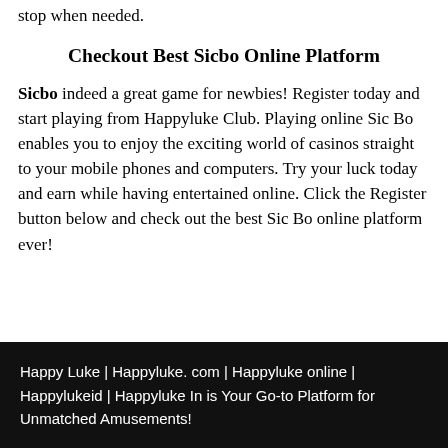stop when needed.
Checkout Best Sicbo Online Platform
Sicbo indeed a great game for newbies! Register today and start playing from Happyluke Club. Playing online Sic Bo enables you to enjoy the exciting world of casinos straight to your mobile phones and computers. Try your luck today and earn while having entertained online. Click the Register button below and check out the best Sic Bo online platform ever!
Happy Luke | Happyluke. com | Happyluke online | Happylukeid | Happyluke In is Your Go-to Platform for Unmatched Amusements!